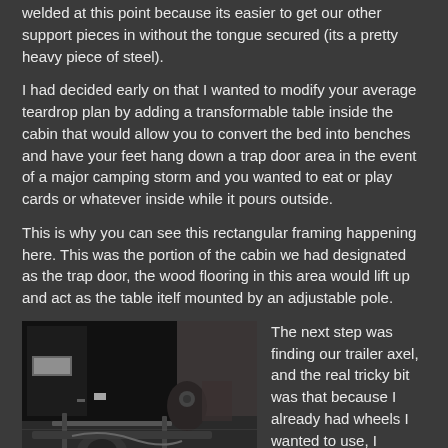welded at this point because its easier to get our other support pieces in without the tongue secured (its a pretty heavy piece of steel).
I had decided early on that I wanted to modify your average teardrop plan by adding a transformable table inside the cabin that would allow you to convert the bed into benches and have your feet hang down a trap door area in the event of a major camping storm and you wanted to eat or play cards or whatever inside while it pours outside.
This is why you can see this rectangular framing happening here.  This was the portion of the cabin we had designated as the trap door,  the wood flooring in this area would lift up and act as the table itelf mounted by an adjustable pole.
[Figure (photo): A photograph showing a workshop or garage floor with metal framing pieces, a trailer, and tools/equipment scattered around. The image is dark and shows construction in progress.]
The next step was finding our trailer axel, and the real tricky bit was that because I already had wheels I wanted to use, I needed to find